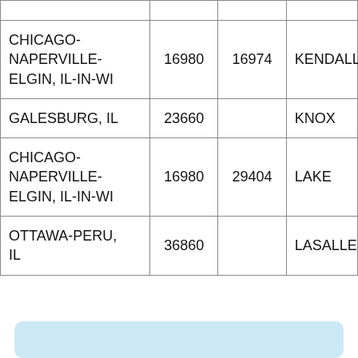| CHICAGO-NAPERVILLE-ELGIN, IL-IN-WI | 16980 | 16974 | KENDALL |
| GALESBURG, IL | 23660 |  | KNOX |
| CHICAGO-NAPERVILLE-ELGIN, IL-IN-WI | 16980 | 29404 | LAKE |
| OTTAWA-PERU, IL | 36860 |  | LASALLE |